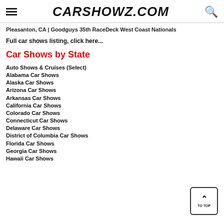CARSHOWZ.COM
Pleasanton, CA | Goodguys 35th RaceDeck West Coast Nationals
Full car shows listing, click here...
Car Shows by State
Auto Shows & Cruises (Select)
Alabama Car Shows
Alaska Car Shows
Arizona Car Shows
Arkansas Car Shows
California Car Shows
Colorado Car Shows
Connecticut Car Shows
Delaware Car Shows
District of Columbia Car Shows
Florida Car Shows
Georgia Car Shows
Hawaii Car Shows